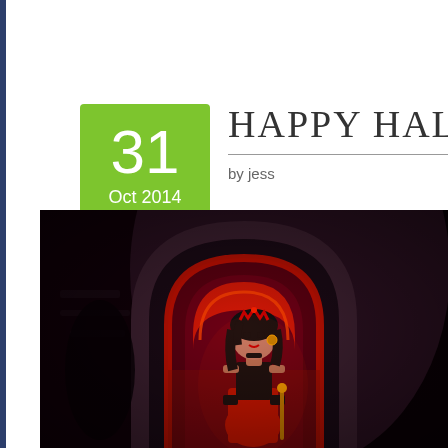HAPPY HALLOWEEN
by jess
[Figure (illustration): Halloween-themed illustration of a cartoon princess character in a red and black costume standing in a gothic stone archway lit with red light, dark atmospheric setting]